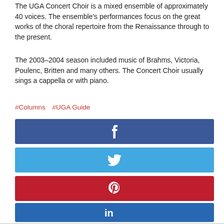The UGA Concert Choir is a mixed ensemble of approximately 40 voices. The ensemble's performances focus on the great works of the choral repertoire from the Renaissance through to the present.
The 2003–2004 season included music of Brahms, Victoria, Poulenc, Britten and many others. The Concert Choir usually sings a cappella or with piano.
#Columns  #UGA Guide
[Figure (other): Facebook share button (dark blue rectangle with white 'f' icon)]
[Figure (other): Twitter share button (light blue rectangle with white bird icon)]
[Figure (other): Pinterest share button (dark red rectangle with white 'P' icon)]
[Figure (other): LinkedIn share button (blue rectangle with white 'in' icon)]